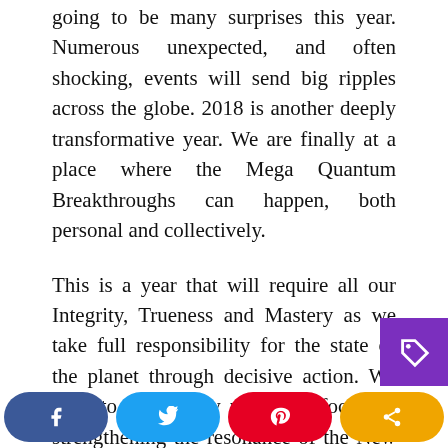going to be many surprises this year. Numerous unexpected, and often shocking, events will send big ripples across the globe. 2018 is another deeply transformative year. We are finally at a place where the Mega Quantum Breakthroughs can happen, both personal and collectively.
This is a year that will require all our Integrity, Trueness and Mastery as we take full responsibility for the state of the planet through decisive action. We have to continually place our focus on strengthening the resonance of the New Reality, choosing LOVE instead of fear. Being a True One is something we have to do full time; it is not a position that we can only inhabit when we feel like